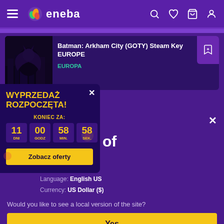eneba
[Figure (screenshot): Batman: Arkham City GOTY game cover art thumbnail]
Batman: Arkham City (GOTY) Steam Key EUROPE
EUROPA
WYPRZEDAŻ ROZPOCZĘTA!
KONIEC ZA: 11 DNI 00 GODZ 58 MIN 58 SEK
Zobacz oferty
d States of ica
Language: English US
Currency: US Dollar ($)
Would you like to see a local version of the site?
Yes